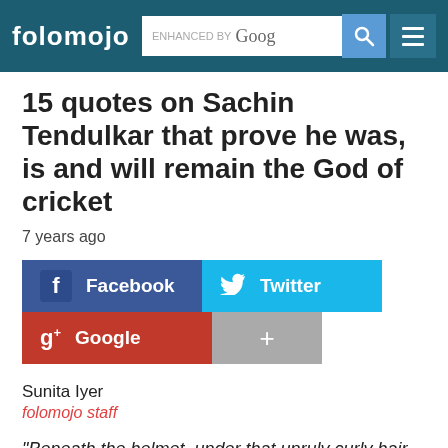folomojo | enhanced by Goog [search] [menu]
15 quotes on Sachin Tendulkar that prove he was, is and will remain the God of cricket
7 years ago
[Figure (infographic): Social share buttons: Facebook, Twitter, Google, and a plus button]
Sunita Iyer
folomojo staff
“Beneath the helmet, under that unruly curly hair, inside the cranium, there is something we don’t know, something beyond scientific measure. Something that